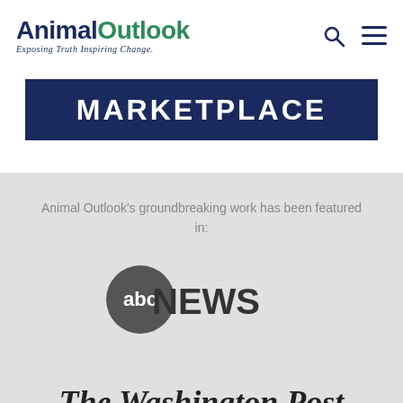[Figure (logo): Animal Outlook logo with tagline 'Exposing Truth Inspiring Change']
[Figure (logo): MARKETPLACE banner in navy blue]
Animal Outlook's groundbreaking work has been featured in:
[Figure (logo): ABC News logo - circular abc badge with NEWS text]
[Figure (logo): The Washington Post logo in serif blackletter font]